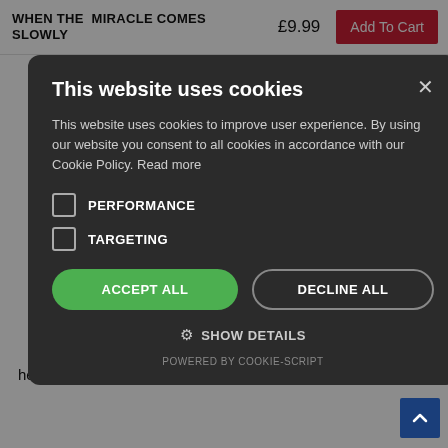WHEN THE MIRACLE COMES SLOWLY
£9.99
Add To Cart
obey his call, and amazed by her vivid
erful writer and
very easy to
challenging.  I
[Figure (screenshot): Cookie consent modal dialog on dark background overlay. Title: 'This website uses cookies'. Body text: 'This website uses cookies to improve user experience. By using our website you consent to all cookies in accordance with our Cookie Policy. Read more'. Checkboxes for PERFORMANCE and TARGETING (unchecked). Buttons: ACCEPT ALL (green), DECLINE ALL (outline). SHOW DETAILS link with gear icon. Footer: POWERED BY COOKIE-SCRIPT. Close X button top right.]
d  March 2017
l  Book: An
cally beautiful
ed so intensely,
d Jesus,
every difficult
esidential
healing course with  Beatriz for five months at